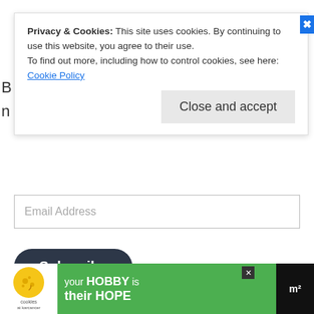Privacy & Cookies: This site uses cookies. By continuing to use this website, you agree to their use.
To find out more, including how to control cookies, see here: Cookie Policy
Close and accept
Email Address
Subscribe
Join 493 other subscribers
Shop Now
[Figure (photo): Eurogames: The Design, Culture and Play of Modern European Board Games book cover]
[Figure (photo): Diplomacy board game box cover]
[Figure (photo): Ticket to Ride board game box cover]
your HOBBY is their HOPE